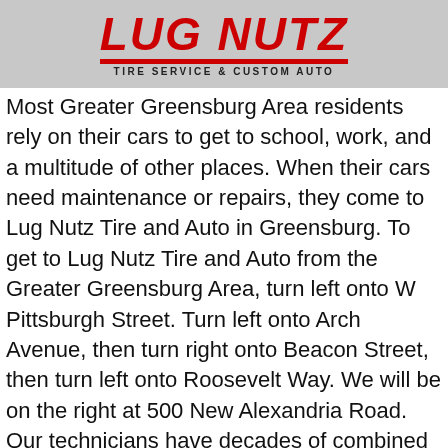[Figure (logo): Lug Nutz Tire Service & Custom Auto logo with red stylized text and red underline bar]
Most Greater Greensburg Area residents rely on their cars to get to school, work, and a multitude of other places. When their cars need maintenance or repairs, they come to Lug Nutz Tire and Auto in Greensburg. To get to Lug Nutz Tire and Auto from the Greater Greensburg Area, turn left onto W Pittsburgh Street. Turn left onto Arch Avenue, then turn right onto Beacon Street, then turn left onto Roosevelt Way. We will be on the right at 500 New Alexandria Road. Our technicians have decades of combined experience and are experts in all things auto repair. Here are some reasons why you should choose Lug Nutz Tire and Auto in Greensburg: We believe that auto repair should be fair and honest with affordable prices and only the repairs and services that you really need or want.